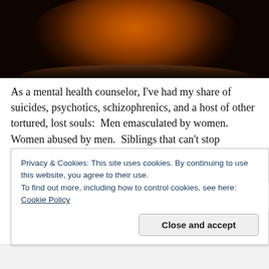[Figure (photo): Close-up photo of the inside of a dark bowl or cup with a warm orange/amber center, dark rim, against a dark background.]
As a mental health counselor, I've had my share of suicides, psychotics, schizophrenics, and a host of other tortured, lost souls:  Men emasculated by women.  Women abused by men.  Siblings that can't stop fighting.  Couples that can't stop quarreling.  Addicts that can't stop addicting and an aging populace that has lost its' purpose.  Recently, a teenager told me that she was 'too old' to start re-inventing herself.  'Too old?' She
Privacy & Cookies: This site uses cookies. By continuing to use this website, you agree to their use.
To find out more, including how to control cookies, see here: Cookie Policy
Close and accept